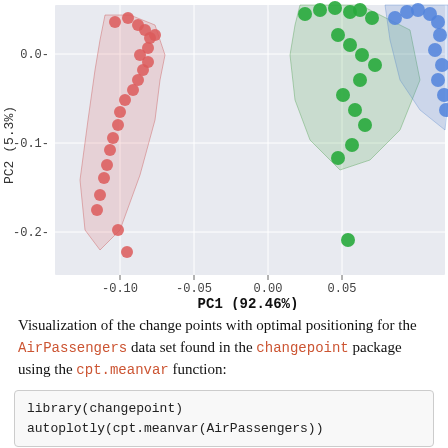[Figure (continuous-plot): PCA scatter plot showing three clusters of points (red/salmon on left, green in upper right, blue on far right) with convex hull shading around each cluster. Y-axis labeled 'PC2 (5.3...)' with values 0.0, -0.1, -0.2. X-axis labeled 'PC1 (92.46%)' with values -0.10, -0.05, 0.00, 0.05.]
Visualization of the change points with optimal positioning for the AirPassengers data set found in the changepoint package using the cpt.meanvar function: